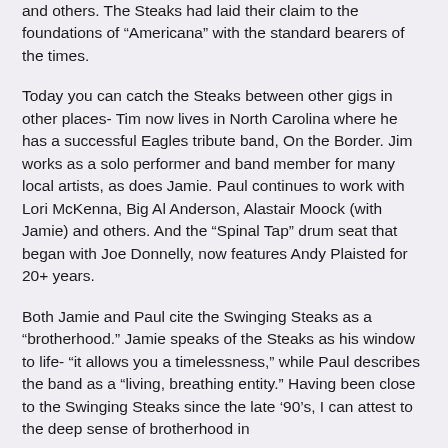and others. The Steaks had laid their claim to the foundations of “Americana” with the standard bearers of the times.
Today you can catch the Steaks between other gigs in other places- Tim now lives in North Carolina where he has a successful Eagles tribute band, On the Border. Jim works as a solo performer and band member for many local artists, as does Jamie. Paul continues to work with Lori McKenna, Big Al Anderson, Alastair Moock (with Jamie) and others. And the “Spinal Tap” drum seat that began with Joe Donnelly, now features Andy Plaisted for 20+ years.
Both Jamie and Paul cite the Swinging Steaks as a “brotherhood.” Jamie speaks of the Steaks as his window to life- “it allows you a timelessness,” while Paul describes the band as a “living, breathing entity.” Having been close to the Swinging Steaks since the late ’90’s, I can attest to the deep sense of brotherhood in